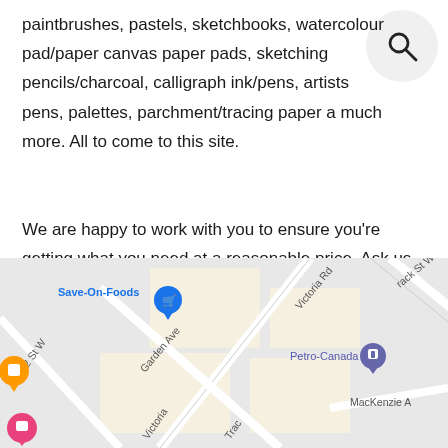paintbrushes, pastels, sketchbooks, watercolour pad/paper canvas paper pads, sketching pencils/charcoal, calligraphy ink/pens, artists pens, palettes, parchment/tracing paper and much more. All to come to this site.
We are happy to work with you to ensure you're getting what you need at a reasonable price. Ask us about price matching and free delivery. We go the extra mile for our customers because we care.
[Figure (map): Google Maps screenshot showing an intersection area with Save-On-Foods (blue marker), Petro-Canada (purple marker), and street labels including Victoria Rd, Garden Ave, 2 St W, rack St W, MacKenzie Ave. An orange pin and a pink pin also visible.]